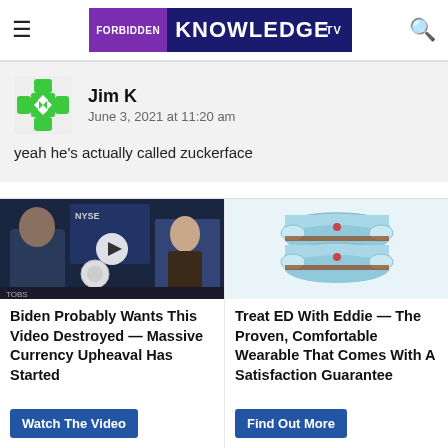FORBIDDEN KNOWLEDGE TV
Jim K
June 3, 2021 at 11:20 am
yeah he's actually called zuckerface
Promoted
[Figure (screenshot): Video thumbnail showing two people at what appears to be NYSE studio with a play button overlay]
Biden Probably Wants This Video Destroyed — Massive Currency Upheaval Has Started
Watch The Video
[Figure (photo): Light blue wearable device product photo on white background]
Treat ED With Eddie — The Proven, Comfortable Wearable That Comes With A Satisfaction Guarantee
Find Out More